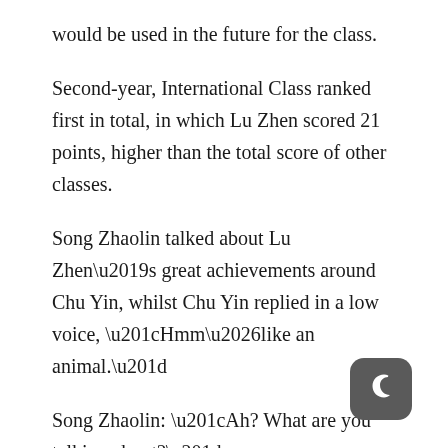would be used in the future for the class.
Second-year, International Class ranked first in total, in which Lu Zhen scored 21 points, higher than the total score of other classes.
Song Zhaolin talked about Lu Zhen’s great achievements around Chu Yin, whilst Chu Yin replied in a low voice, “Hmm…like an animal.”
Song Zhaolin: “Ah? What are you talking about?”
Chu Yin: “I said, he’s so fierce.”
[Figure (logo): Dark grey rounded square icon with a crescent moon symbol]